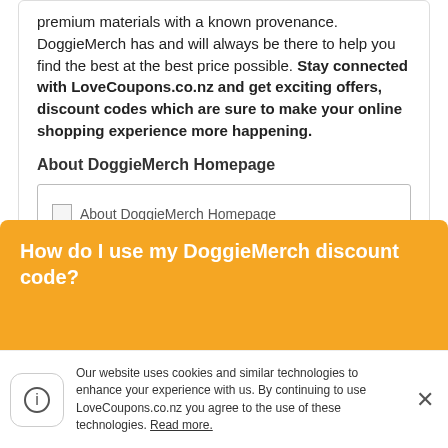premium materials with a known provenance. DoggieMerch has and will always be there to help you find the best at the best price possible. Stay connected with LoveCoupons.co.nz and get exciting offers, discount codes which are sure to make your online shopping experience more happening.
About DoggieMerch Homepage
[Figure (illustration): Broken image placeholder with alt text 'About DoggieMerch Homepage']
How do I use my DoggieMerch discount code?
Our website uses cookies and similar technologies to enhance your experience with us. By continuing to use LoveCoupons.co.nz you agree to the use of these technologies. Read more.